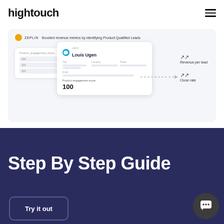hightouch
[Figure (screenshot): Zeplin case study screenshot showing a data pipeline from a product engagement score table through a Salesforce contact card (Louis Ugen) with engagement score 100, with dotted arrow pointing to Revenue per lead and Close rate metrics]
Step By Step Guide
Try it out